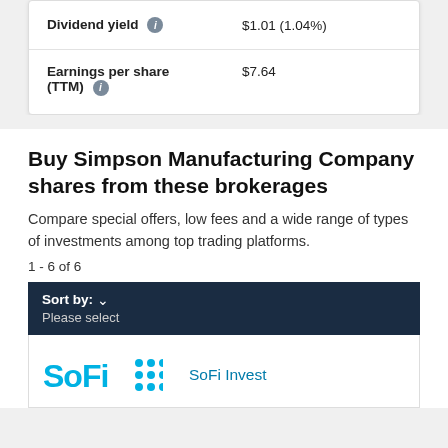| Metric | Value |
| --- | --- |
| Dividend yield | $1.01 (1.04%) |
| Earnings per share (TTM) | $7.64 |
Buy Simpson Manufacturing Company shares from these brokerages
Compare special offers, low fees and a wide range of types of investments among top trading platforms.
1 - 6 of 6
Sort by: Please select
[Figure (logo): SoFi logo with colored dots grid and 'SoFi Invest' link text]